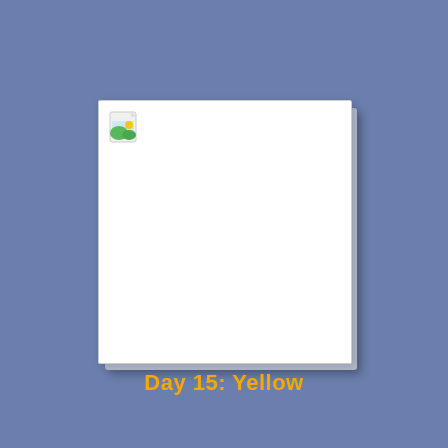[Figure (illustration): A mostly blank white document page with a broken image icon in the upper left corner, displayed against a blue-grey background with a shadow effect beneath the document.]
Day 15: Yellow